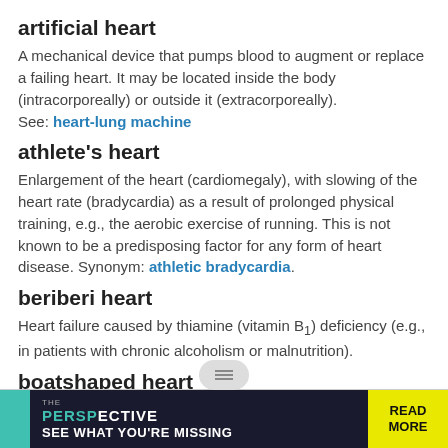artificial heart
A mechanical device that pumps blood to augment or replace a failing heart. It may be located inside the body (intracorporeally) or outside it (extracorporeally).
See: heart-lung machine
athlete's heart
Enlargement of the heart (cardiomegaly), with slowing of the heart rate (bradycardia) as a result of prolonged physical training, e.g., the aerobic exercise of running. This is not known to be a predisposing factor for any form of heart disease. Synonym: athletic bradycardia.
beriberi heart
Heart failure caused by thiamine (vitamin B1) deficiency (e.g., in patients with chronic alcoholism or malnutrition).
boatshaped heart
A heart in which one ventricle is dilated and hypertrophied as a result of aortic regurgitation.
[Figure (other): Advertisement banner: THE PERSPECTIVE - SEE WHAT YOU'RE MISSING - READ MORE]